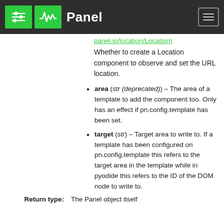Panel
panel.io/location/Location)
Whether to create a Location component to observe and set the URL location.
area (str (deprecated)) – The area of a template to add the component too. Only has an effect if pn.config.template has been set.
target (str) – Target area to write to. If a template has been configured on pn.config.template this refers to the target area in the template while in pyodide this refers to the ID of the DOM node to write to.
Return type: The Panel object itself